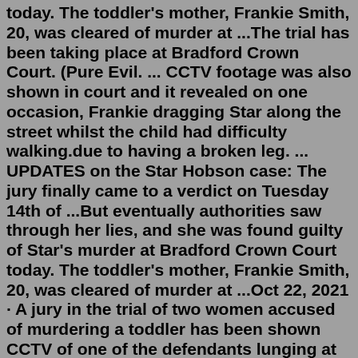today. The toddler's mother, Frankie Smith, 20, was cleared of murder at ...The trial has been taking place at Bradford Crown Court. (Pure Evil. ... CCTV footage was also shown in court and it revealed on one occasion, Frankie dragging Star along the street whilst the child had difficulty walking.due to having a broken leg. ... UPDATES on the Star Hobson case: The jury finally came to a verdict on Tuesday 14th of ...But eventually authorities saw through her lies, and she was found guilty of Star's murder at Bradford Crown Court today. The toddler's mother, Frankie Smith, 20, was cleared of murder at ...Oct 22, 2021 · A jury in the trial of two women accused of murdering a toddler has been shown CCTV of one of the defendants lunging at the child. Sixteen-month-old Star Hobson suffered a cardiac arrest and died... The woman who killed 16-month-old Star Hobson is "pure evil" and "ascended from the bowels of hell", the toddler's great-grandfather said after she was convicted of murder. Savannah ...Oct 22, 2021 · A jury in the trial of two women accused of murdering a